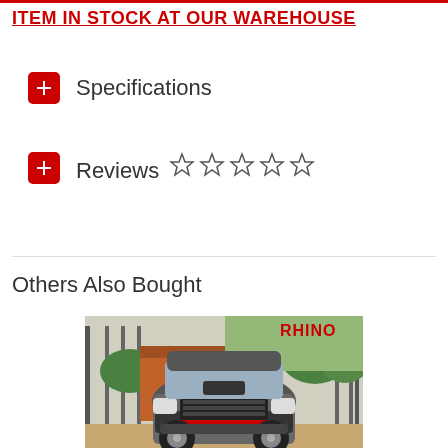ITEM IN STOCK AT OUR WAREHOUSE
Specifications
Reviews ☆☆☆☆☆
Others Also Bought
[Figure (photo): Front view of a modified truck/SUV (Mitsubishi-style) with lifted suspension, photographed in front of a metal gate/fence, with a Rhino logo visible in the upper right corner of the image.]